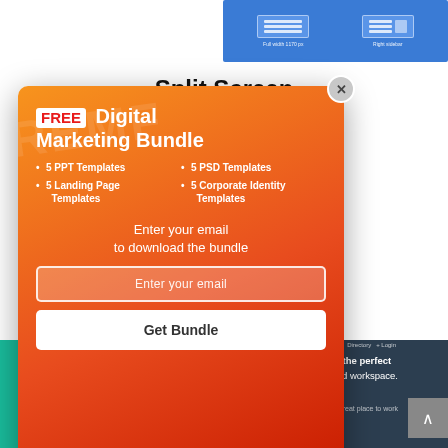[Figure (screenshot): Blue background layout thumbnails showing 'Full width 1170 px' and 'Right sidebar' layout options]
Split Screen
This layout type was one of the dominating trends w... is basically a L... 2 different i... nd CTA.
[Figure (infographic): Popup advertisement for FREE Digital Marketing Bundle with orange-red gradient background, listing 5 PPT Templates, 5 PSD Templates, 5 Landing Page Templates, 5 Corporate Identity Templates, email input field and Get Bundle button]
[Figure (screenshot): Bottom website screenshot strip showing teal and dark navy sections with text about finding the perfect workspace]